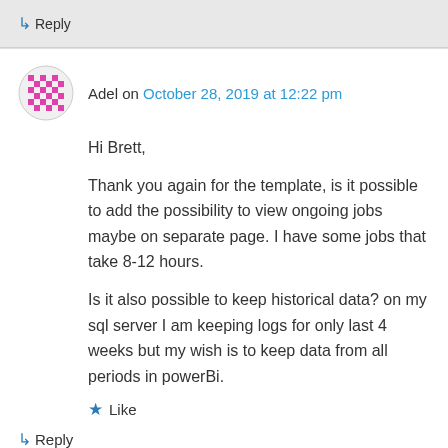↳ Reply
Adel on October 28, 2019 at 12:22 pm
Hi Brett,

Thank you again for the template, is it possible to add the possibility to view ongoing jobs maybe on separate page. I have some jobs that take 8-12 hours.
Is it also possible to keep historical data? on my sql server I am keeping logs for only last 4 weeks but my wish is to keep data from all periods in powerBi.
★ Like
↳ Reply